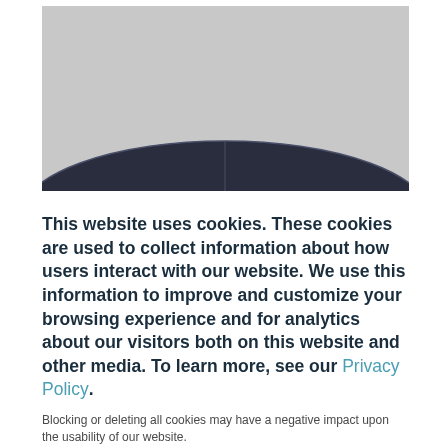[Figure (photo): Partial view of a dark metallic or rubber object (possibly a trampoline or car roof) against a light gray background, shown from below/partially in frame.]
This website uses cookies. These cookies are used to collect information about how users interact with our website. We use this information to improve and customize your browsing experience and for analytics about our visitors both on this website and other media. To learn more, see our Privacy Policy.
Blocking or deleting all cookies may have a negative impact upon the usability of our website.
ACCEPT COOKIES
Decline